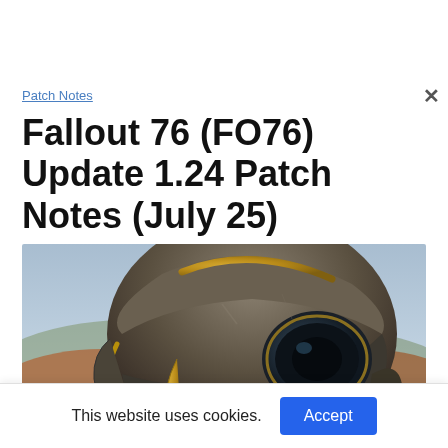Patch Notes
Fallout 76 (FO76) Update 1.24 Patch Notes (July 25)
[Figure (photo): Close-up photo of a Fallout 76 power armor helmet against a blurred autumn landscape background]
This website uses cookies.